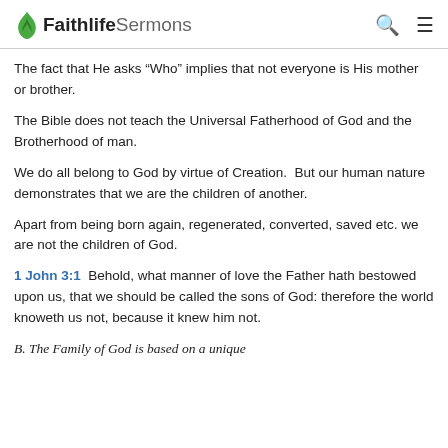Faithlife Sermons
The fact that He asks “Who” implies that not everyone is His mother or brother.
The Bible does not teach the Universal Fatherhood of God and the Brotherhood of man.
We do all belong to God by virtue of Creation.  But our human nature demonstrates that we are the children of another.
Apart from being born again, regenerated, converted, saved etc. we are not the children of God.
1 John 3:1  Behold, what manner of love the Father hath bestowed upon us, that we should be called the sons of God: therefore the world knoweth us not, because it knew him not.
B. The Family of God is based on a unique